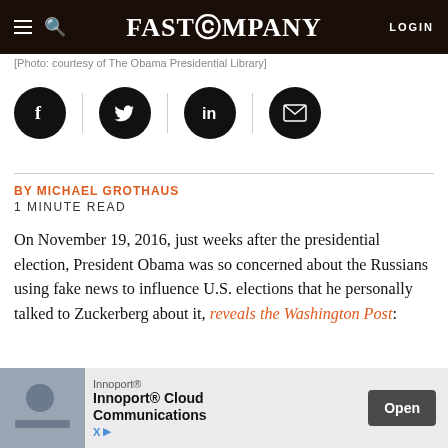Fast Company — navigation bar with logo, menu, search, login
[Photo: courtesy of The Obama Presidential Library]
[Figure (infographic): Social sharing icons row: Facebook, Twitter, LinkedIn, Email — black circles with white icons, separated by vertical dividers]
BY MICHAEL GROTHAUS
1 MINUTE READ
On November 19, 2016, just weeks after the presidential election, President Obama was so concerned about the Russians using fake news to influence U.S. elections that he personally talked to Zuckerberg about it, reveals the Washington Post:
[Figure (infographic): Advertisement banner: Innoport® Cloud Communications with Open button]